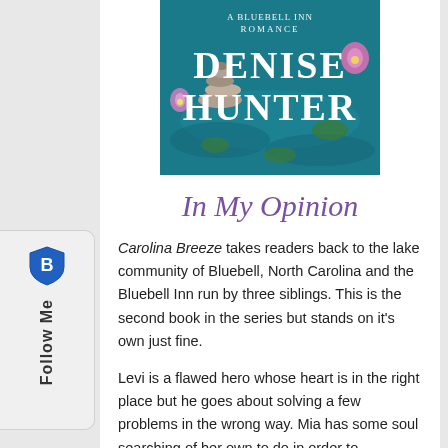[Figure (illustration): Book cover for a Bluebell Inn Romance by Denise Hunter, showing a blue-teal lake background with water lilies and stacked stones. Title text reads 'DENISE HUNTER' in large white serif letters and 'A BLUEBELL INN ROMANCE' at the top.]
In My Opinion
Carolina Breeze takes readers back to the lake community of Bluebell, North Carolina and the Bluebell Inn run by three siblings. This is the second book in the series but stands on it’s own just fine.
Levi is a flawed hero whose heart is in the right place but he goes about solving a few problems in the wrong way. Mia has some soul searching of her own to do in order to